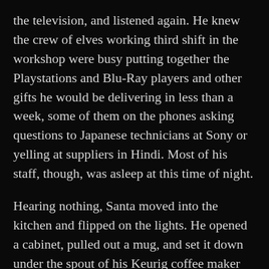the television, and listened again. He knew the crew of elves working third shift in the workshop were busy putting together the Playstations and Blu-Ray players and other gifts he would be delivering in less than a week, some of them on the phones asking questions to Japanese technicians at Sony or yelling at suppliers in Hindi. Most of his staff, though, was asleep at this time of night.
Hearing nothing, Santa moved into the kitchen and flipped on the lights. He opened a cabinet, pulled out a mug, and set it down under the spout of his Keurig coffee maker before spinning his large rack of single-serve brew choices. He selected a dark Brazilian roast and popped the small cup into the machine, smiling as the aromatic steam began rising from his mug.